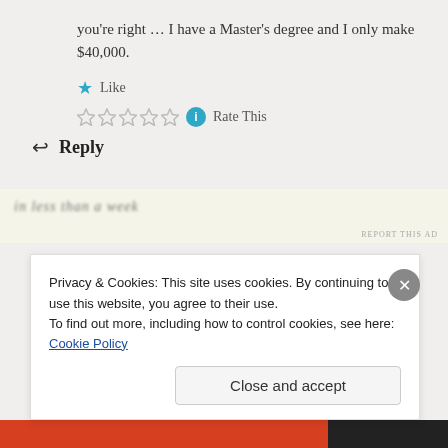you're right ... I have a Master's degree and I only make $40,000.
★ Like
Rate This
Reply
[Figure (screenshot): Ad banner with blurred text 'in less than a week' and REPORT THIS AD label]
Privacy & Cookies: This site uses cookies. By continuing to use this website, you agree to their use.
To find out more, including how to control cookies, see here: Cookie Policy
Close and accept